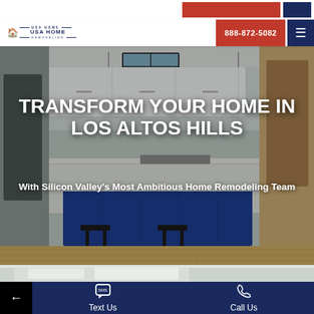[Figure (logo): USA Home Remodeling logo with house icon, in navy blue and red]
888-872-5082
[Figure (photo): Kitchen remodel photo showing white upper cabinets, blue island with bar stools, pendant lights, skylight, and wood-look flooring]
TRANSFORM YOUR HOME IN LOS ALTOS HILLS
With Silicon Valley's Most Ambitious Home Remodeling Team
[Figure (photo): Partial view of a remodeled interior, white cabinetry visible at bottom of page]
Text Us   Call Us